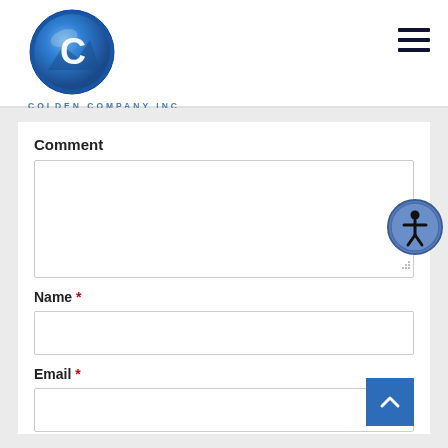[Figure (logo): Colden Company Inc logo — circular blue gradient sphere with white C letter on mountain background]
COLDEN COMPANY INC
[Figure (other): Hamburger menu icon — three horizontal dark lines]
Comment
[Figure (other): Large text area input box for comment]
[Figure (other): Accessibility icon button — circular blue button with human figure symbol]
Name *
[Figure (other): Name text input box]
Email *
[Figure (other): Email text input box]
[Figure (other): Scroll to top button — blue square with white upward chevron arrow]